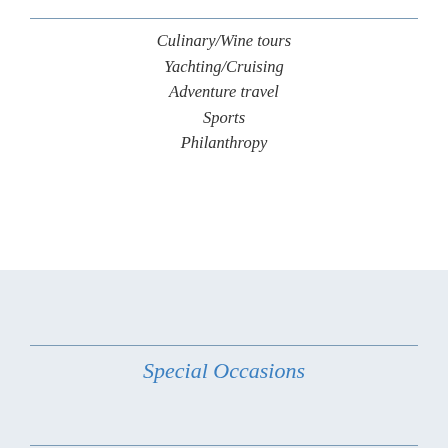Culinary/Wine tours
Yachting/Cruising
Adventure travel
Sports
Philanthropy
Special Occasions
Family Reunion (multi-generational)
Birthday Celebration
Engagement
Bachelor/Bachelorette Trip